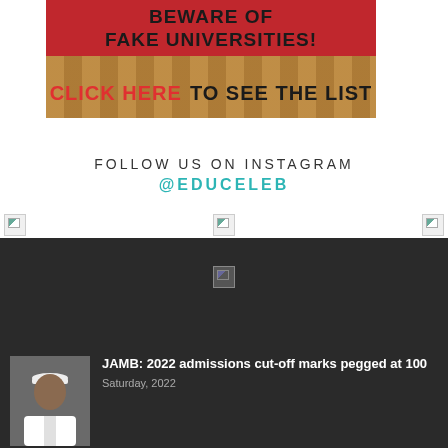[Figure (infographic): Red and brown banner warning about fake universities with text 'BEWARE OF FAKE UNIVERSITIES!' on red background, and 'CLICK HERE TO SEE THE LIST' on a photo of lecture hall seats]
FOLLOW US ON INSTAGRAM
@EDUCELEB
[Figure (photo): Three broken/missing image placeholders in a row]
[Figure (photo): Dark background section with one broken/missing image placeholder in center]
[Figure (photo): Person in white cap and traditional attire (thumbnail photo)]
JAMB: 2022 admissions cut-off marks pegged at 100
Saturday, 2022